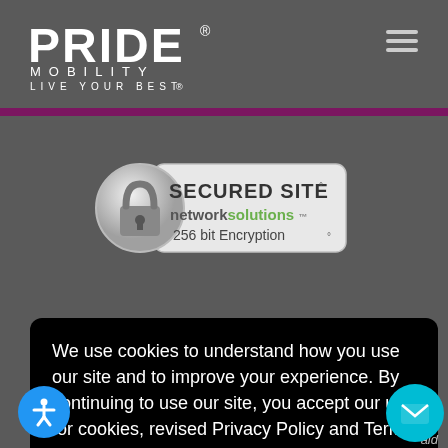PRIDE MOBILITY — LIVE YOUR BEST
[Figure (logo): Pride Mobility logo — white bold PRIDE text with MOBILITY and LIVE YOUR BEST tagline]
[Figure (infographic): Network Solutions Secured Site badge with padlock icon and 256 bit Encryption text]
We use cookies to understand how you use our site and to improve your experience. By continuing to use our site, you accept our use for cookies, revised Privacy Policy and Terms of Use. Learn more
Click Here to Accept